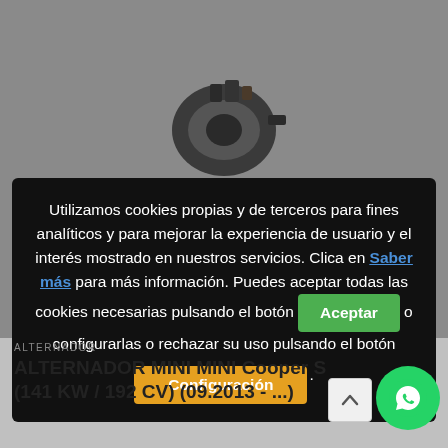[Figure (photo): Blurred product page background showing a car alternator part on a grey background]
Utilizamos cookies propias y de terceros para fines analíticos y para mejorar la experiencia de usuario y el interés mostrado en nuestros servicios. Clica en Saber más para más información. Puedes aceptar todas las cookies necesarias pulsando el botón Aceptar o configurarlas o rechazar su uso pulsando el botón Configuración.
ALTERNADOR
ALTERNADOR MINI MINI Cooper S (141 KW / 192 CV) (09.2013 - ...)